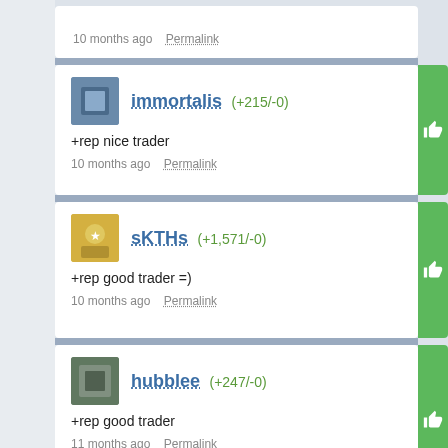10 months ago   Permalink
immortalis (+215/-0)
+rep nice trader
10 months ago   Permalink
sKTHs (+1,571/-0)
+rep good trader =)
10 months ago   Permalink
hubblee (+247/-0)
+rep good trader
11 months ago   Permalink
BlazeHaze (+142/-1)
+Rep, trust and friendly trader